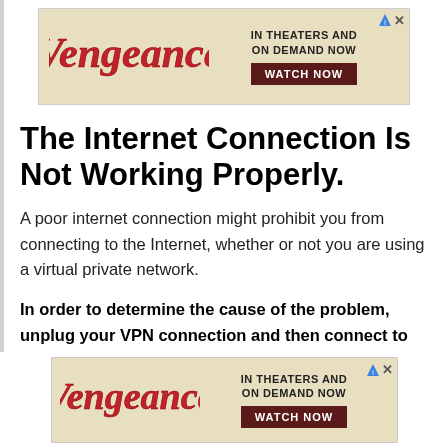[Figure (other): Advertisement banner for 'Vengeance' movie — in theaters and on demand now, Watch Now button, parchment background with stylized red logo]
The Internet Connection Is Not Working Properly.
A poor internet connection might prohibit you from connecting to the Internet, whether or not you are using a virtual private network.
In order to determine the cause of the problem, unplug your VPN connection and then connect to the Internet again. If you are still unable to do so, the fault is most likely with your internet connection rather than with
[Figure (other): Advertisement banner for 'Vengeance' movie — in theaters and on demand now, Watch Now button, parchment background with stylized red logo]